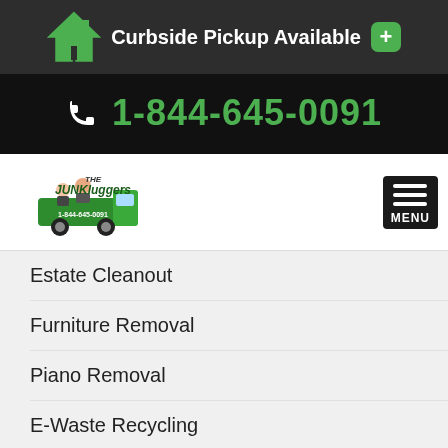Curbside Pickup Available
1-844-645-0091
[Figure (logo): The Junkluggers logo with cartoon characters and green truck]
Estate Cleanout
Furniture Removal
Piano Removal
E-Waste Recycling
Commercial
SERVICE AREA   BOOK NOW